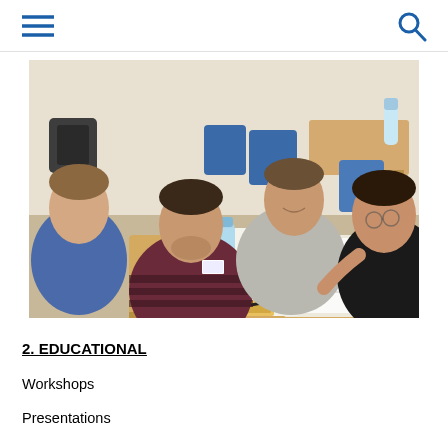[Figure (photo): Four young men sitting around a wooden table in a classroom, working together on papers and notebooks. Two water bottles are on the table. Blue chairs and desks are visible in the background.]
2. EDUCATIONAL
Workshops
Presentations